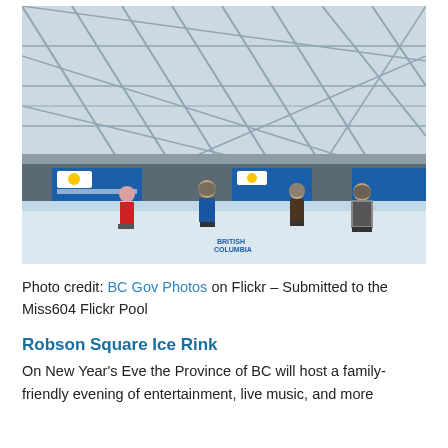[Figure (photo): People ice skating at Robson Square Ice Rink under a large geometric glass dome ceiling. Blue British Columbia government banners visible in the background. Skaters wearing helmets and winter clothing on a white ice surface enclosed by a glass barrier.]
Photo credit: BC Gov Photos on Flickr – Submitted to the Miss604 Flickr Pool
Robson Square Ice Rink
On New Year's Eve the Province of BC will host a family-friendly evening of entertainment, live music, and more